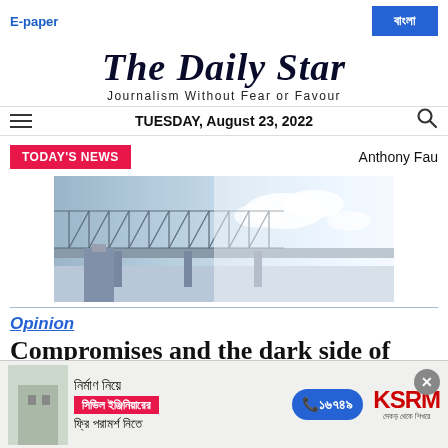E-paper | বাংলা
The Daily Star
Journalism Without Fear or Favour
TUESDAY, August 23, 2022
TODAY'S NEWS   Anthony Fau
[Figure (photo): Photograph of a large bridge (Padma Bridge) with steel truss structure against a partly cloudy sky]
Opinion
Compromises and the dark side of
[Figure (infographic): Advertisement banner in Bengali: নির্মাণ নিয়ে সিভিল ইঞ্জিনিয়ারের ফ্রি পরামর্শ নিতে ১৬৭৪৯ KSRM]